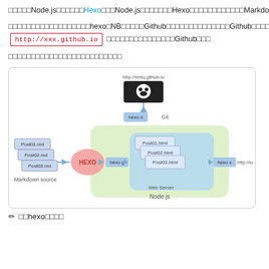□□□□□Node.js□□□□□□Hexo□□□Node.js□□□□□□□Hexo□□□□□□□□□□□□Markdown□□□□□□□□□□HTML□□□□Hexo□□□□□□Node.js□Web□□□□□□□□□□□□□□□□
□□□□□□□□□□□□□□□□□□hexo□NB□□□□□Github□□□□□□□□□□□□□□Github□□□□□□□□ http://xxx.github.io □□□□□□□□□□□□□□□Github□□□
□□□□□□□□□□□□□□□□□□□□□□□□□
[Figure (flowchart): Hexo workflow diagram showing: Markdown source files (Post01.md, Post02.md, Post03.md) → HEXO (pink ellipse) → hexo g → Node.js environment with Web Server containing Post01.html, Post02.html, Post03.html → hexo s → http://localhost:4000; also hexo d → Git → http://xintq.github.io (GitHub icon)]
□□hexo□□□□